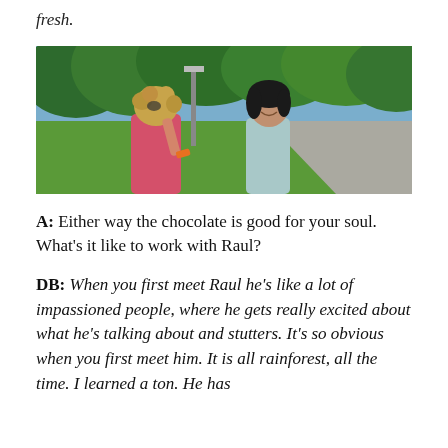fresh.
[Figure (photo): Two young women in a park on a sunny day. One with curly blonde hair wearing a pink tank top is seen from behind, holding something near her head. The other has dark hair and is smiling, wearing a light blue top. Green trees and a paved path are visible in the background.]
A: Either way the chocolate is good for your soul. What’s it like to work with Raul?
DB: When you first meet Raul he’s like a lot of impassioned people, where he gets really excited about what he’s talking about and stutters. It’s so obvious when you first meet him. It is all rainforest, all the time. I learned a ton. He has